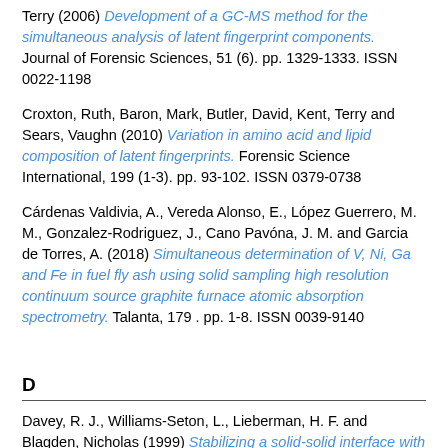Terry (2006) Development of a GC-MS method for the simultaneous analysis of latent fingerprint components. Journal of Forensic Sciences, 51 (6). pp. 1329-1333. ISSN 0022-1198
Croxton, Ruth, Baron, Mark, Butler, David, Kent, Terry and Sears, Vaughn (2010) Variation in amino acid and lipid composition of latent fingerprints. Forensic Science International, 199 (1-3). pp. 93-102. ISSN 0379-0738
Cárdenas Valdivia, A., Vereda Alonso, E., López Guerrero, M. M., Gonzalez-Rodriguez, J., Cano Pavóna, J. M. and Garcia de Torres, A. (2018) Simultaneous determination of V, Ni, Ga and Fe in fuel fly ash using solid sampling high resolution continuum source graphite furnace atomic absorption spectrometry. Talanta, 179 . pp. 1-8. ISSN 0039-9140
D
Davey, R. J., Williams-Seton, L., Lieberman, H. F. and Blagden, Nicholas (1999) Stabilizing a solid-solid interface with a molecular-scale adhesive. Nature, 402 (6763). pp. 797-799. ISSN 0028-0836
Degli-Innocenti, Francesco, Bellia, Gaetano, Tosin, Maurizio, Kapanen, Anu and Itavaara, Merja (2001) Detection of toxicity released by a